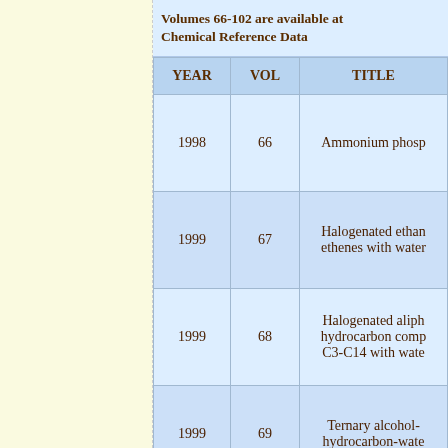Volumes 66-102 are available at Chemical Reference Data
| YEAR | VOL | TITLE |
| --- | --- | --- |
| 1998 | 66 | Ammonium phosp… |
| 1999 | 67 | Halogenated ethan… ethenes with water… |
| 1999 | 68 | Halogenated aliph… hydrocarbon comp… C3-C14 with wate… |
| 1999 | 69 | Ternary alcohol-hydrocarbon-wate… |